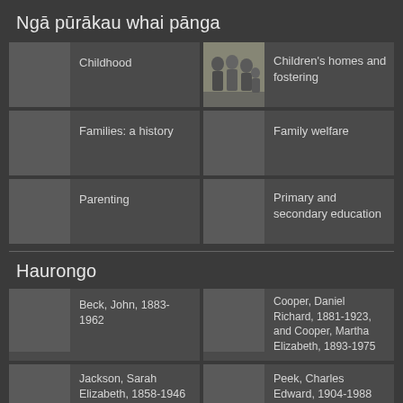Ngā pūrākau whai pānga
Childhood
[Figure (photo): Black and white photo of several children grouped together]
Children's homes and fostering
Families: a history
Family welfare
Parenting
Primary and secondary education
Haurongo
Beck, John, 1883-1962
Cooper, Daniel Richard, 1881-1923, and Cooper, Martha Elizabeth, 1893-1975
Jackson, Sarah Elizabeth, 1858-1946
Peek, Charles Edward, 1904-1988